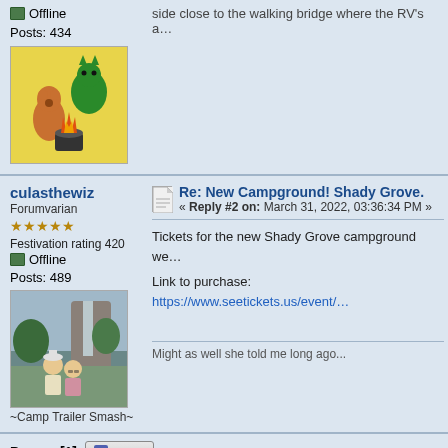Offline
Posts: 434
[Figure (illustration): Avatar image showing cartoon animals around a campfire on yellow background]
culasthewiz
Forumvarian
Festivation rating 420
Offline
Posts: 489
[Figure (photo): Profile photo of couple outdoors near waterfall]
~Camp Trailer Smash~
Re: New Campground! Shady Grove.
« Reply #2 on: March 31, 2022, 03:36:34 PM »
Tickets for the new Shady Grove campground we…
Link to purchase: https://www.seetickets.us/event/…
Might as well she told me long ago...
Pages: [1]
go up